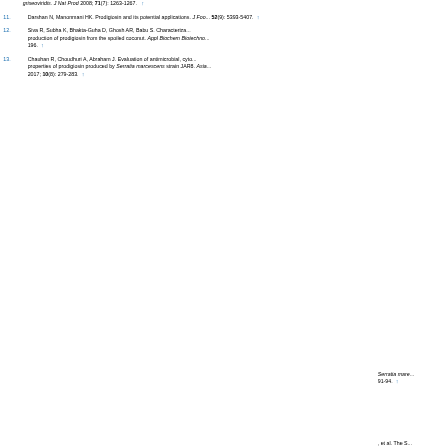griseoviridis. J Nat Prod 2008; 71(7): 1263-1267. ↑
11. Darshan N, Manonmani HK. Prodigiosin and its potential applications. J Foo... 52(9): 5393-5407. ↑
12. Siva R, Subha K, Bhakta-Guha D, Ghosh AR, Babu S. Characteriza... production of prodigiosin from the spoiled coconut. Appl Biochem Biotechno... 196. ↑
13. Chauhan R, Choudhuri A, Abraham J. Evaluation of antimicrobial, cyto... properties of prodigiosin produced by Serratia marcescens strain JAR8. Asia... 2017; 10(8): 279-283. ↑
This website uses cookies. By continuing to use this website you are giving consent to cookies being used. For information on cookies and how you can disable them visit our
Privacy and Cookie Policy.
AGREE & PROCEED
...Serratia mare... 91-94. ↑
...et al. The S... species- a... 50. ↑
...ements in hi... ol 2019; 103... ↑
...biosynthesis o... rum sensin... regulatory components in the control of prodigiosin and carbapenem antib... Microbiol 2005; 50(9): 1495-1517.